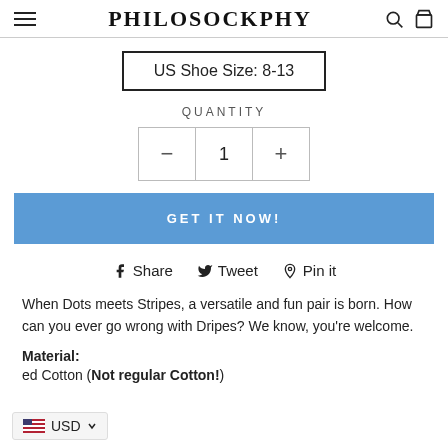PHILOSOCKPHY
US Shoe Size: 8-13
QUANTITY
GET IT NOW!
Share  Tweet  Pin it
When Dots meets Stripes, a versatile and fun pair is born. How can you ever go wrong with Dripes? We know, you're welcome.
Material:
ed Cotton (Not regular Cotton!)
USD